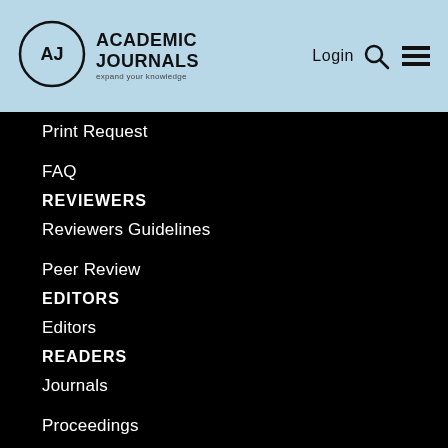[Figure (logo): Academic Journals logo with circular AJ emblem and tagline 'expand your knowledge']
Print Request
FAQ
REVIEWERS
Reviewers Guidelines
Peer Review
EDITORS
Editors
READERS
Journals
Proceedings
News
Articles